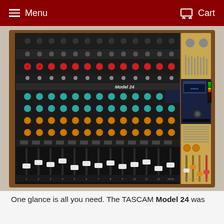Menu   Cart
[Figure (photo): Photograph of a TASCAM Model 24 analog mixing console with multitrack recorder. The mixer features 20 input channels with XLR/TRS combo inputs, EQ knobs, aux sends, faders, and a built-in digital recorder section with display on the right side. The unit has a wooden side panel and shows channel labels 1-16, 17/18, 19/20, 21/22, 23/24, SUB, BUS 1, MON 2, MAIN along the bottom.]
One glance is all you need. The TASCAM Model 24 was